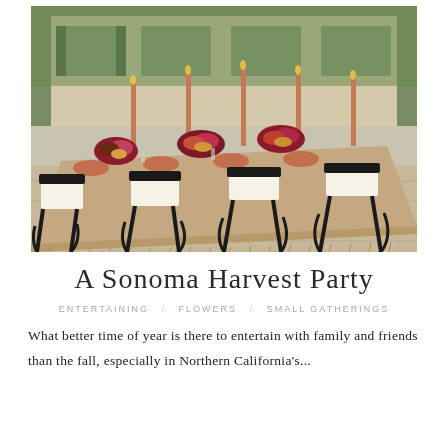[Figure (photo): Outdoor autumn harvest dining table set with burlap/linen tablecloth with fringe edges, black Klismos-style chairs with white cushions, floral arrangements in burgundy and warm tones, tall copper candles, stone patio, ivy-covered building facade in background.]
A Sonoma Harvest Party
ENTERTAINING   FLOWERS   SMALL GATHERINGS
What better time of year is there to entertain with family and friends than the fall, especially in Northern California's...